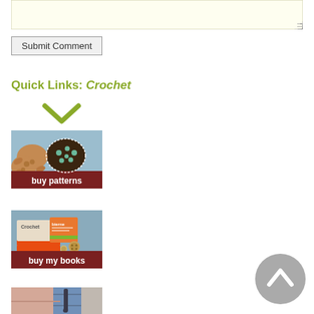[Figure (screenshot): Textarea input box with light yellow background and resize handle]
Submit Comment
Quick Links: Crochet
[Figure (illustration): Downward chevron/arrow icon in olive/green color]
[Figure (photo): Buy patterns button image showing crocheted turtle amigurumi toys on blue background with dark red banner reading 'buy patterns']
[Figure (photo): Buy my books button image showing crochet books and buttons on blue/gray background with dark red banner reading 'buy my books']
[Figure (photo): Partially visible image at bottom showing yarn/crochet close-up in pink and blue tones]
[Figure (illustration): Gray circular scroll-to-top button with upward-pointing chevron arrow]